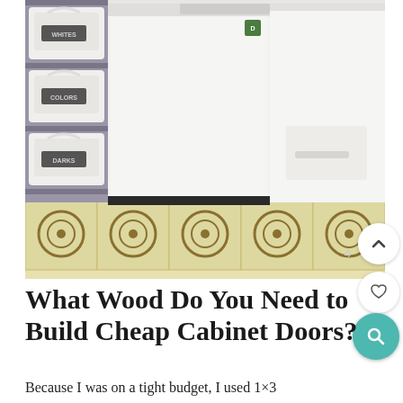[Figure (photo): Laundry room photo showing a white top-load washing machine in the center, a white dryer to the right, and a shelving unit on the left with white laundry baskets labeled 'WHITES', 'COLORS', and 'DARKS'. The floor has decorative patterned tiles in gold/brown and cream.]
What Wood Do You Need to Build Cheap Cabinet Doors?
Because I was on a tight budget, I used 1×3